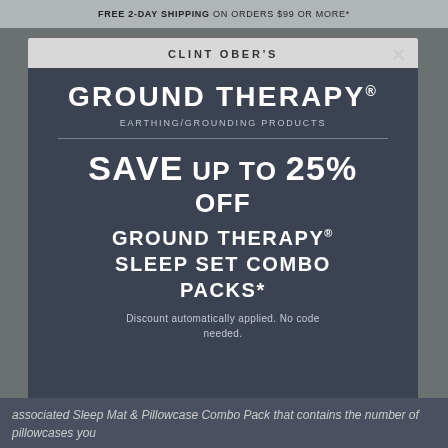FREE 2-DAY SHIPPING ON ORDERS $99 OR MORE*
CLINT OBER'S
GROUND THERAPY® EARTHING/GROUNDING PRODUCTS
SAVE UP TO 25% OFF GROUND THERAPY® SLEEP SET COMBO PACKS*
Discount automatically applied. No code needed.
associated Sleep Mat & Pillowcase Combo Pack that contains the number of pillowcases you